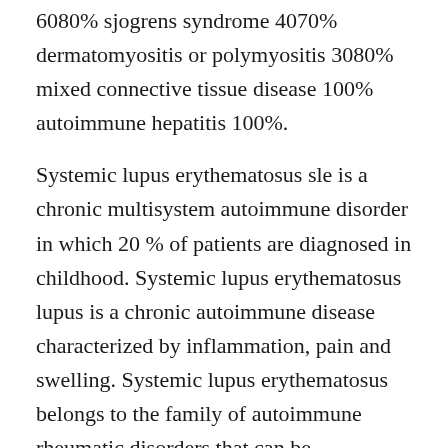6080% sjogrens syndrome 4070% dermatomyositis or polymyositis 3080% mixed connective tissue disease 100% autoimmune hepatitis 100%.
Systemic lupus erythematosus sle is a chronic multisystem autoimmune disorder in which 20 % of patients are diagnosed in childhood. Systemic lupus erythematosus lupus is a chronic autoimmune disease characterized by inflammation, pain and swelling. Systemic lupus erythematosus belongs to the family of autoimmune rheumatic disorders that can be characterized by its impact on joints